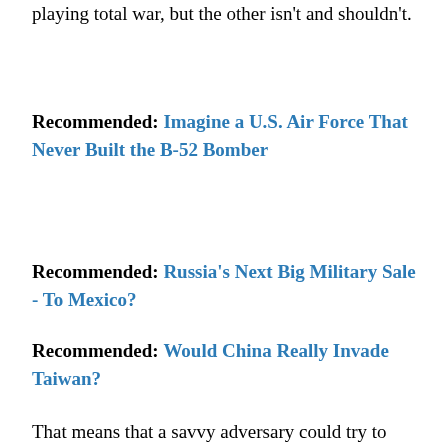playing total war, but the other isn't and shouldn't.
Recommended: Imagine a U.S. Air Force That Never Built the B-52 Bomber
Recommended: Russia's Next Big Military Sale - To Mexico?
Recommended: Would China Really Invade Taiwan?
That means that a savvy adversary could try to